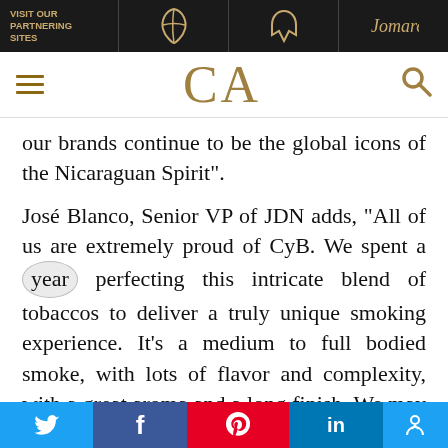VISIT OUR PARTNERING SITES
CA
our brands continue to be the global icons of the Nicaraguan Spirit".
José Blanco, Senior VP of JDN adds, “All of us are extremely proud of CyB. We spent a year perfecting this intricate blend of tobaccos to deliver a truly unique smoking experience. It’s a medium to full bodied smoke, with lots of flavor and complexity, with a great aroma and a long finish. We may have changed the name, but the jewel we have created continues to be exactly
Twitter | Facebook | Pinterest | LinkedIn | Accessible